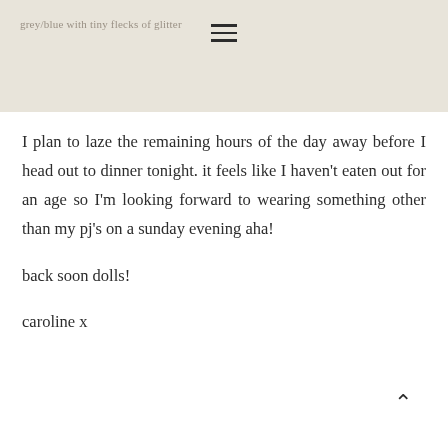grey/blue with tiny flecks of glitter
I plan to laze the remaining hours of the day away before I head out to dinner tonight. it feels like I haven't eaten out for an age so I'm looking forward to wearing something other than my pj's on a sunday evening aha!
back soon dolls!
caroline x